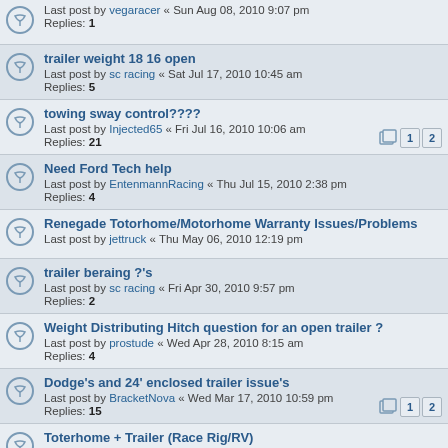Last post by vegaracer « Sun Aug 08, 2010 9:07 pm
Replies: 1
trailer weight 18 16 open
Last post by sc racing « Sat Jul 17, 2010 10:45 am
Replies: 5
towing sway control????
Last post by Injected65 « Fri Jul 16, 2010 10:06 am
Replies: 21
Need Ford Tech help
Last post by EntenmannRacing « Thu Jul 15, 2010 2:38 pm
Replies: 4
Renegade Totorhome/Motorhome Warranty Issues/Problems
Last post by jettruck « Thu May 06, 2010 12:19 pm
trailer beraing ?'s
Last post by sc racing « Fri Apr 30, 2010 9:57 pm
Replies: 2
Weight Distributing Hitch question for an open trailer ?
Last post by prostude « Wed Apr 28, 2010 8:15 am
Replies: 4
Dodge's and 24' enclosed trailer issue's
Last post by BracketNova « Wed Mar 17, 2010 10:59 pm
Replies: 15
Toterhome + Trailer (Race Rig/RV)
Last post by ald « Mon Dec 28, 2009 9:59 pm
Good Deal?
Last post by kyleracer « Wed Dec 02, 2009 11:47 pm
Replies: 7
open trailer question